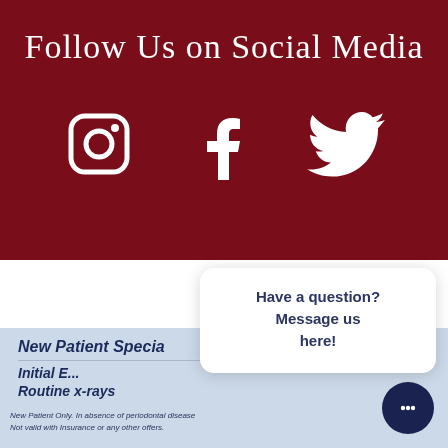Follow Us on Social Media
[Figure (illustration): Three white social media icons on dark red background: Instagram camera icon, Facebook 'f' icon, Twitter bird icon]
×
Have a question? Message us here!
New Patient Specia...
Initial E...
Routine x-rays
Prophylaxis Cleaning
New Patient Only. In absence of periodontal disease. Not valid with insurance or any other offers.